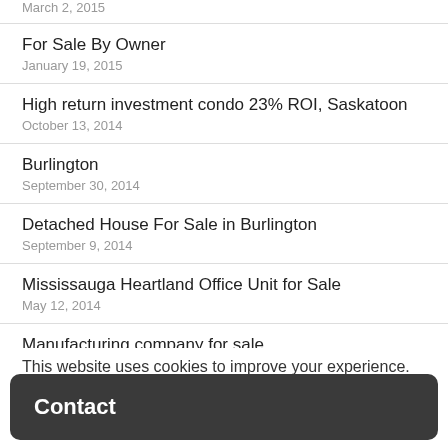March 2, 2015
For Sale By Owner
January 19, 2015
High return investment condo 23% ROI, Saskatoon
October 13, 2014
Burlington
September 30, 2014
Detached House For Sale in Burlington
September 9, 2014
Mississauga Heartland Office Unit for Sale
May 12, 2014
Manufacturing company for sale
This website uses cookies to improve your experience. We'll
Contact